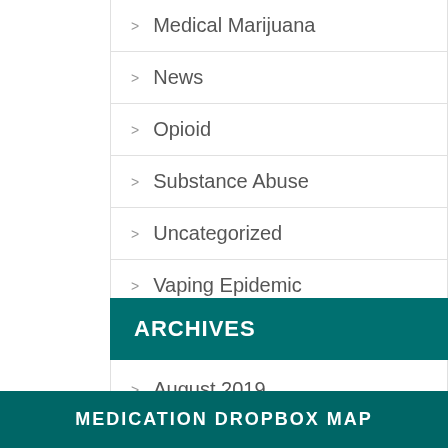Medical Marijuana
News
Opioid
Substance Abuse
Uncategorized
Vaping Epidemic
ARCHIVES
August 2019
MEDICATION DROPBOX MAP